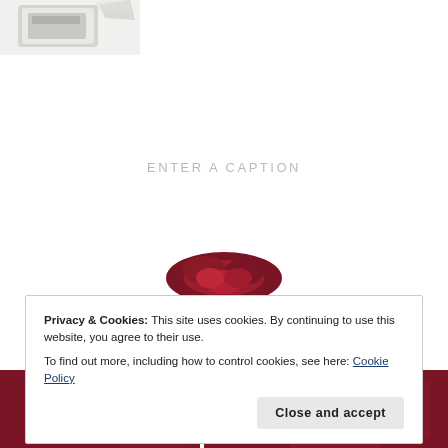[Figure (photo): Partial product image (metallic/silver object) visible at top-left corner of page]
ENTER A CAPTION
[Figure (photo): Partial image of a red/dark crimson flower (rose) visible in center-lower area of page]
Privacy & Cookies: This site uses cookies. By continuing to use this website, you agree to their use.
To find out more, including how to control cookies, see here: Cookie Policy
Close and accept
[Figure (photo): Two partial red/dark crimson fabric or floral images at the bottom of the page, separated by a white vertical divider]